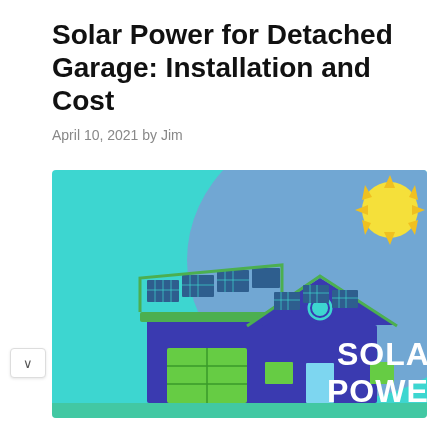Solar Power for Detached Garage: Installation and Cost
April 10, 2021 by Jim
[Figure (illustration): Illustration of a house and detached garage with solar panels on the roof, set against a teal/blue gradient sky with a yellow sun in the upper right. White bold text reads 'SOLAR POWER' on the right side. The buildings are dark blue with green doors and accents. Solar panels are shown as dark blue/green grid panels on both rooftops.]